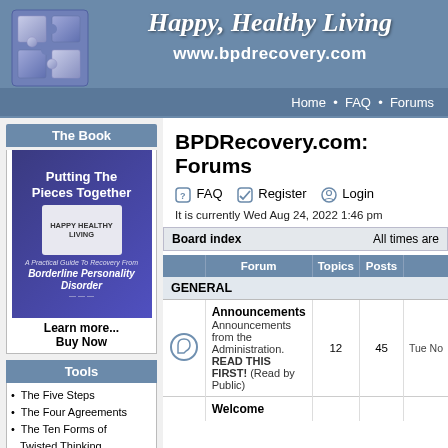Happy, Healthy Living
www.bpdrecovery.com
Home • FAQ • Forums
[Figure (logo): Puzzle piece logo in blue/purple gradient]
BPDRecovery.com: Forums
FAQ  Register  Login
It is currently Wed Aug 24, 2022 1:46 pm
Board index   All times are
[Figure (illustration): Book cover: Putting The Pieces Together - Happy Healthy Living - A Practical Guide To Recovery From Borderline Personality Disorder]
Learn more...
Buy Now
Tools
The Five Steps
The Four Agreements
The Ten Forms of Twisted Thinking
Ten Ways to Untwist Your Thinking
Feeling Suicidal?
BPDR Basics
Separation of Stuff
Feelings & Moods
Learned Response
| Forum | Topics | Posts |  |
| --- | --- | --- | --- |
| GENERAL |  |  |  |
| Announcements
Announcements from the Administration. READ THIS FIRST! (Read by Public) | 12 | 45 | Tue No |
| Welcome |  |  |  |